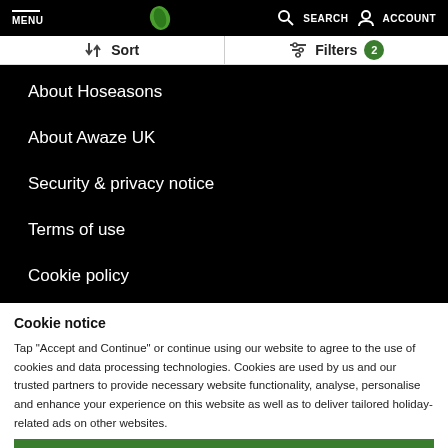MENU | SEARCH ACCOUNT
Sort | Filters 2
About Hoseasons
About Awaze UK
Security & privacy notice
Terms of use
Cookie policy
Cookie notice
Tap "Accept and Continue" or continue using our website to agree to the use of cookies and data processing technologies. Cookies are used by us and our trusted partners to provide necessary website functionality, analyse, personalise and enhance your experience on this website as well as to deliver tailored holiday-related ads on other websites.
Accept and Continue